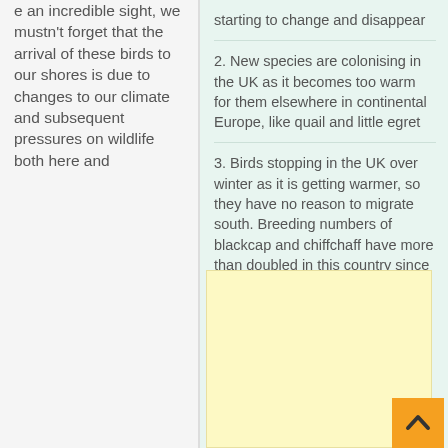e an incredible sight, we mustn't forget that the arrival of these birds to our shores is due to changes to our climate and subsequent pressures on wildlife both here and
starting to change and disappear
2. New species are colonising in the UK as it becomes too warm for them elsewhere in continental Europe, like quail and little egret
3. Birds stopping in the UK over winter as it is getting warmer, so they have no reason to migrate south. Breeding numbers of blackcap and chiffchaff have more than doubled in this country since the 1970s
[Figure (other): Yellow advertisement box placeholder]